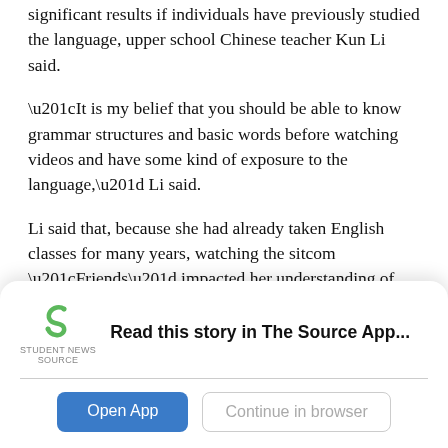significant results if individuals have previously studied the language, upper school Chinese teacher Kun Li said.
“It is my belief that you should be able to know grammar structures and basic words before watching videos and have some kind of exposure to the language,” Li said.
Li said that, because she had already taken English classes for many years, watching the sitcom “Friends” impacted her understanding of daily life in America more than learning grammar or memorizing vocabulary words.
[Figure (logo): Student News Source app logo — green swirl S icon above text ‘STUDENT NEWS SOURCE’]
Read this story in The Source App...
Open App | Continue in browser